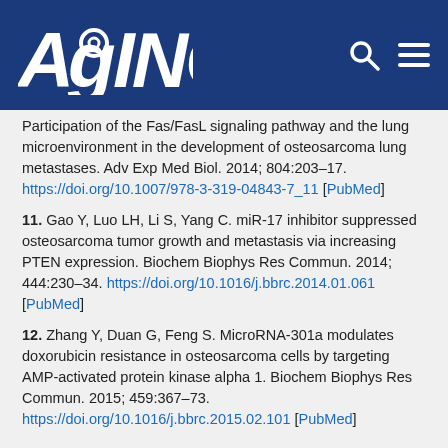AGING
Participation of the Fas/FasL signaling pathway and the lung microenvironment in the development of osteosarcoma lung metastases. Adv Exp Med Biol. 2014; 804:203–17. https://doi.org/10.1007/978-3-319-04843-7_11 [PubMed]
11. Gao Y, Luo LH, Li S, Yang C. miR-17 inhibitor suppressed osteosarcoma tumor growth and metastasis via increasing PTEN expression. Biochem Biophys Res Commun. 2014; 444:230–34. https://doi.org/10.1016/j.bbrc.2014.01.061 [PubMed]
12. Zhang Y, Duan G, Feng S. MicroRNA-301a modulates doxorubicin resistance in osteosarcoma cells by targeting AMP-activated protein kinase alpha 1. Biochem Biophys Res Commun. 2015; 459:367–73. https://doi.org/10.1016/j.bbrc.2015.02.101 [PubMed]